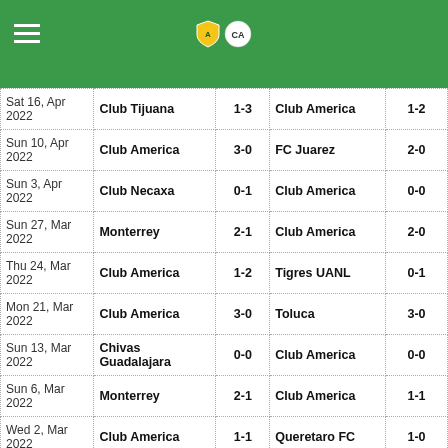Club America match results
| Date | Home Team | Score | Away Team | Score |
| --- | --- | --- | --- | --- |
| Sat 16, Apr 2022 | Club Tijuana | 1-3 | Club America | 1-2 |
| Sun 10, Apr 2022 | Club America | 3-0 | FC Juarez | 2-0 |
| Sun 3, Apr 2022 | Club Necaxa | 0-1 | Club America | 0-0 |
| Sun 27, Mar 2022 | Monterrey | 2-1 | Club America | 2-0 |
| Thu 24, Mar 2022 | Club America | 1-2 | Tigres UANL | 0-1 |
| Mon 21, Mar 2022 | Club America | 3-0 | Toluca | 3-0 |
| Sun 13, Mar 2022 | Chivas Guadalajara | 0-0 | Club America | 0-0 |
| Sun 6, Mar 2022 | Monterrey | 2-1 | Club America | 1-1 |
| Wed 2, Mar 2022 | Club America | 1-1 | Queretaro FC | 1-0 |
| Sun 27, Feb 2022 | Pumas UNAM | 0-0 | Club America | 0-0 |
| Mon 21, Feb 2022 | Club America | 1-3 | Pachuca | 0-2 |